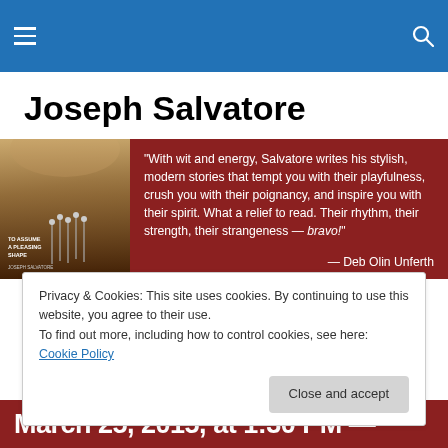Joseph Salvatore — site navigation header
Joseph Salvatore
[Figure (illustration): Book cover for 'To Assume a Pleasing Shape' by Joseph Salvatore alongside a dark red banner with a quote from Deb Olin Unferth: "With wit and energy, Salvatore writes his stylish, modern stories that tempt you with their playfulness, crush you with their poignancy, and inspire you with their spirit. What a relief to read. Their rhythm, their strength, their strangeness — bravo!" — Deb Olin Unferth]
Privacy & Cookies: This site uses cookies. By continuing to use this website, you agree to their use.
To find out more, including how to control cookies, see here: Cookie Policy
Close and accept
March 25, 2015, at 1:30 PM —